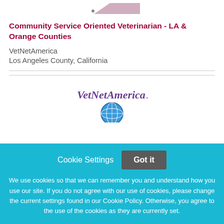[Figure (logo): Partial pink/mauve shape visible at top — partial logo or image cropped]
Community Service Oriented Veterinarian - LA & Orange Counties
VetNetAmerica
Los Angeles County, California
[Figure (logo): VetNetAmerica logo with globe illustration, partially visible]
Cookie Settings   Got it

We use cookies so that we can remember you and understand how you use our site. If you do not agree with our use of cookies, please change the current settings found in our Cookie Policy. Otherwise, you agree to the use of the cookies as they are currently set.